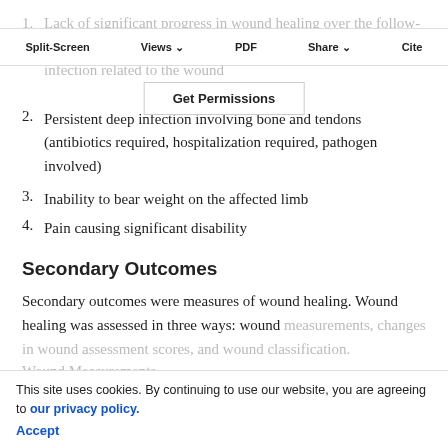1. Lack of significant progress in wound healing over the follow-up period, which indicated ongoing risk of severe systemic infection related to the wound
Split-Screen  Views  PDF  Share  Cite  Get Permissions
2. Persistent deep infection involving bone and tendons (antibiotics required, hospitalization required, pathogen involved)
3. Inability to bear weight on the affected limb
4. Pain causing significant disability
Secondary Outcomes
Secondary outcomes were measures of wound healing. Wound healing was assessed in three ways: wound measurements, changes in wound assessment scores, and wound classification.
Wound Measurements.
This site uses cookies. By continuing to use our website, you are agreeing to our privacy policy. Accept